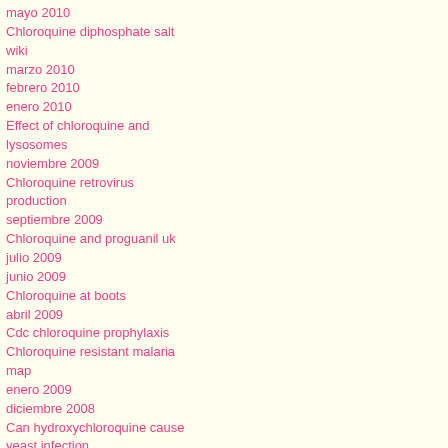mayo 2010
Chloroquine diphosphate salt
wiki
marzo 2010
febrero 2010
enero 2010
Effect of chloroquine and lysosomes
noviembre 2009
Chloroquine retrovirus production
septiembre 2009
Chloroquine and proguanil uk
julio 2009
junio 2009
Chloroquine at boots
abril 2009
Cdc chloroquine prophylaxis
Chloroquine resistant malaria map
enero 2009
diciembre 2008
Can hydroxychloroquine cause yeast infection
Hydroxychloroquine as a glucose lowering drug
septiembre 2008